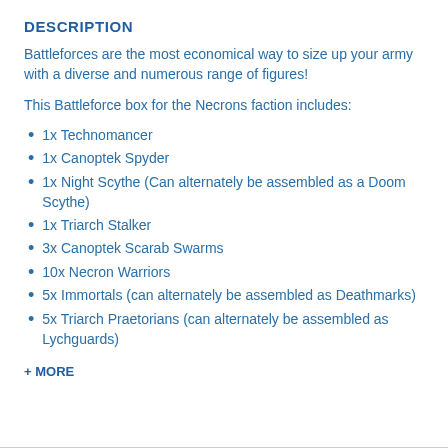DESCRIPTION
Battleforces are the most economical way to size up your army with a diverse and numerous range of figures!
This Battleforce box for the Necrons faction includes:
1x Technomancer
1x Canoptek Spyder
1x Night Scythe (Can alternately be assembled as a Doom Scythe)
1x Triarch Stalker
3x Canoptek Scarab Swarms
10x Necron Warriors
5x Immortals (can alternately be assembled as Deathmarks)
5x Triarch Praetorians (can alternately be assembled as Lychguards)
+ MORE